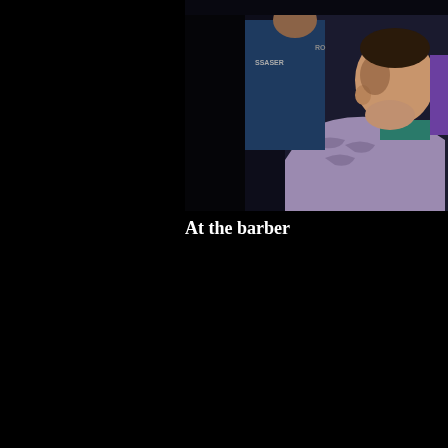[Figure (photo): A person at the barber, reclining with a barber cape draped over them. The barber appears in the background wearing a dark blue top with text. The photo is taken in low light conditions.]
At the barber